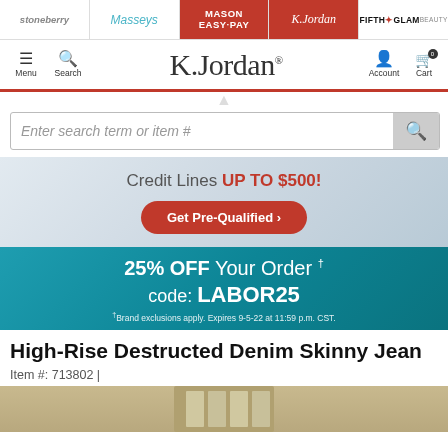stoneberry | Masseys | MASON EASY-PAY | K.Jordan | FIFTH GLAM
[Figure (screenshot): K.Jordan website navigation bar with Menu, Search, K.Jordan logo, Account and Cart icons]
[Figure (screenshot): Search bar with placeholder 'Enter search term or item #']
[Figure (screenshot): Credit Lines UP TO $500! banner with Get Pre-Qualified button]
[Figure (screenshot): 25% OFF Your Order code: LABOR25 promotional teal banner]
High-Rise Destructed Denim Skinny Jean
Item #: 713802 |